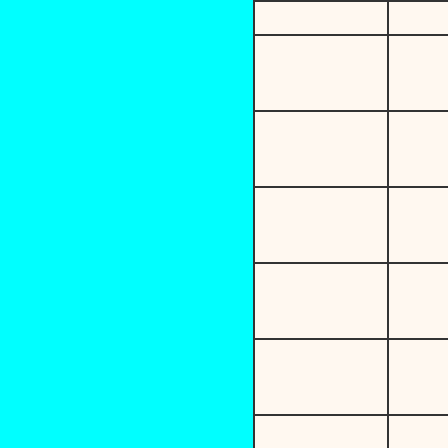| (blank) | Qty | Description |
| --- | --- | --- |
|  |  | EX-NM or B |
|  | 3 | 1993 Uppe
Cards 465
EX-NM or B |
|  | 3 | 1993 Uppe
Cards 466
IN
EX-NM or B |
|  | 3 | 1993 Uppe
Cards 467
IN
EX-NM or B |
|  | 3 | 1993 Uppe
Cards 468
IN
EX-NM or B |
|  | 3 | 1993 Uppe
Cards 469
IN
EX-NM or B |
|  | 3 | 1993 Uppe
Cards 470
IN
EX-NM or B |
|  |  | 1993 Uppe
Cards 471 |